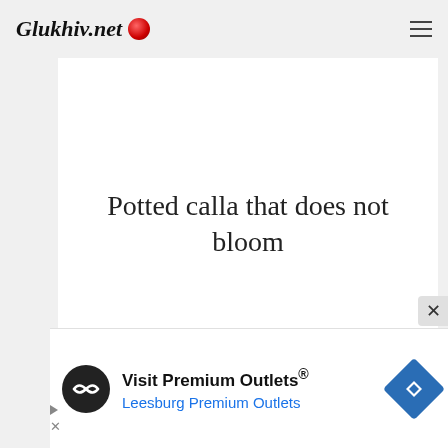Glukhiv.net
Potted calla that does not bloom
If the calla is in a pot and you have been growing it for several years, it is normal that it has lost flowering. Why? Because
[Figure (infographic): Advertisement banner for Visit Premium Outlets® — Leesburg Premium Outlets, with circular logo, navigation arrow icon, and ad controls]